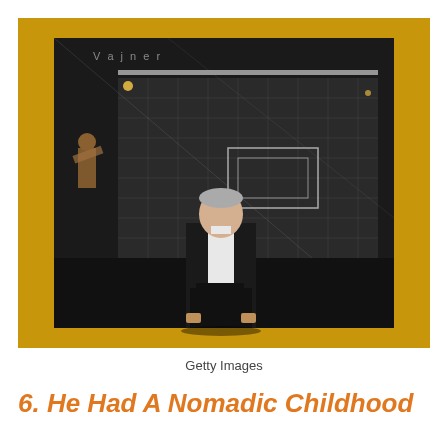[Figure (photo): A man in a black coat and white shirt stands in front of a large framed artwork that depicts a surreal, dark industrial scene with a figure playing a musical instrument on the left side. The artwork is displayed against gold/yellow curtains.]
Getty Images
6. He Had A Nomadic Childhood